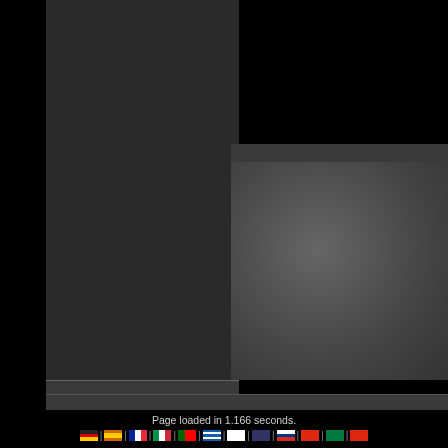[Figure (screenshot): Website screenshot showing a dark-themed computer hardware news website with left dark panel, right content panel with gray textured background, and bottom navigation area]
computer hardware news and
Page loaded in 1.166 seconds.
[Figure (infographic): Row of country flag icons with pipe separators: German, Spanish, French, Italian, Portuguese, Greek, Japanese, International/Globe, Russian, Chinese, Arabic, Chinese flags]